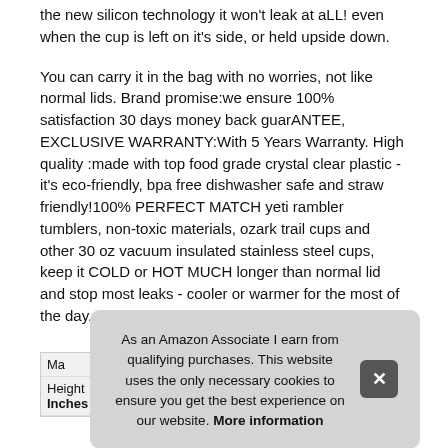the new silicon technology it won't leak at aLL! even when the cup is left on it's side, or held upside down.
You can carry it in the bag with no worries, not like normal lids. Brand promise:we ensure 100% satisfaction 30 days money back guarANTEE, EXCLUSIVE WARRANTY:With 5 Years Warranty. High quality :made with top food grade crystal clear plastic - it's eco-friendly, bpa free dishwasher safe and straw friendly!100% PERFECT MATCH yeti rambler tumblers, non-toxic materials, ozark trail cups and other 30 oz vacuum insulated stainless steel cups, keep it COLD or HOT MUCH longer than normal lid and stop most leaks - cooler or warmer for the most of the day.
As an Amazon Associate I earn from qualifying purchases. This website uses the only necessary cookies to ensure you get the best experience on our website. More information
| Ma |
| Height | 0.98 Inches |